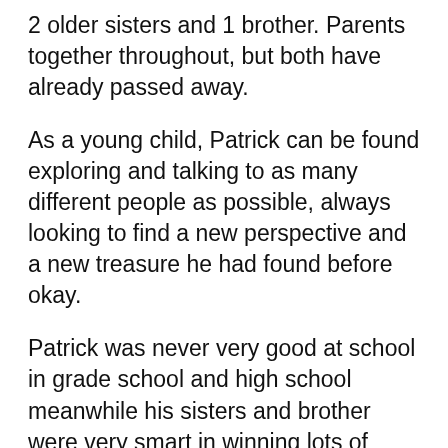2 older sisters and 1 brother. Parents together throughout, but both have already passed away.
As a young child, Patrick can be found exploring and talking to as many different people as possible, always looking to find a new perspective and a new treasure he had found before okay.
Patrick was never very good at school in grade school and high school meanwhile his sisters and brother were very smart in winning lots of scholarships and awards Patrick always wanted to learn from the real world and real people operating within the real world he only did well in school during his college years and was very happy to be finished with that when it was over.